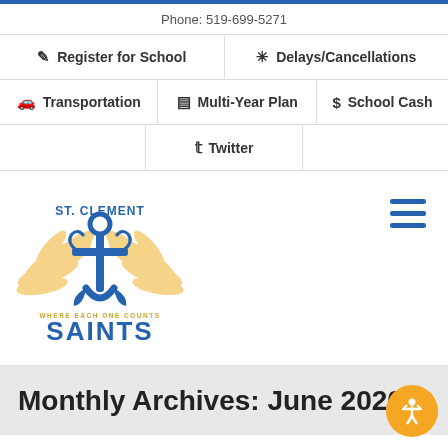Phone: 519-699-5271
Register for School
Delays/Cancellations
Transportation
Multi-Year Plan
School Cash
Twitter
[Figure (logo): St. Clement Saints school logo with anchor and wings, text 'ST. CLEMENT', 'WHERE EACH ONE COUNTS', 'SAINTS']
Monthly Archives: June 2020